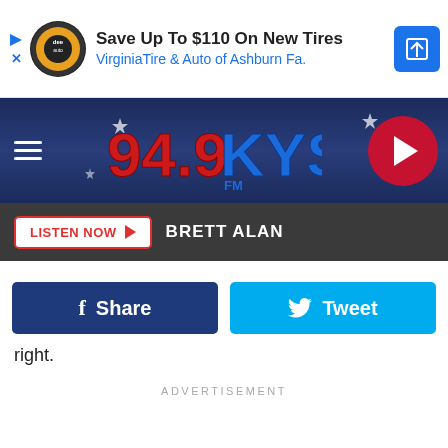[Figure (screenshot): Ad banner: Save Up To $110 On New Tires - VirginiaTire & Auto of Ashburn Fa.]
[Figure (logo): 94.9 KYSS FM radio station header logo on dark blue background with stars]
[Figure (screenshot): Listen Now button bar with Brett Alan DJ name]
[Figure (screenshot): Facebook Share and Twitter Tweet social sharing buttons]
right.
ADVERTISEMENT